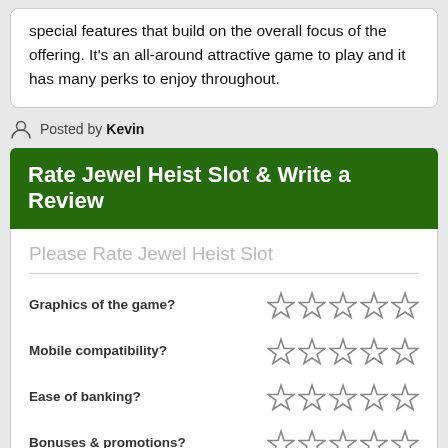special features that build on the overall focus of the offering. It’s an all-around attractive game to play and it has many perks to enjoy throughout.
Posted by Kevin
Rate Jewel Heist Slot & Write a Review
Please Rate Jewel Heist Slot
Graphics of the game? [5 stars]
Mobile compatibility? [5 stars]
Ease of banking? [5 stars]
Bonuses & promotions? [5 stars]
Loading speed? [5 stars]